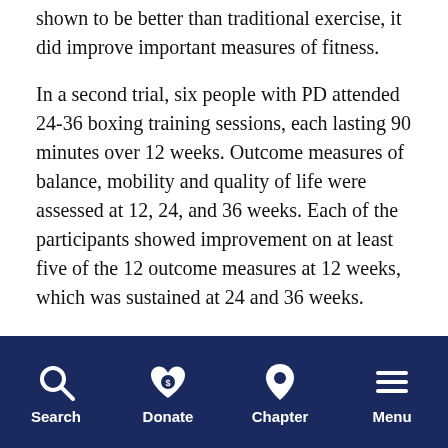exercise group. Despite the fact that boxing was not shown to be better than traditional exercise, it did improve important measures of fitness.
In a second trial, six people with PD attended 24-36 boxing training sessions, each lasting 90 minutes over 12 weeks. Outcome measures of balance, mobility and quality of life were assessed at 12, 24, and 36 weeks. Each of the participants showed improvement on at least five of the 12 outcome measures at 12 weeks, which was sustained at 24 and 36 weeks.
Larger trials are needed to fully understand the
Search | Donate | Chapter | Menu